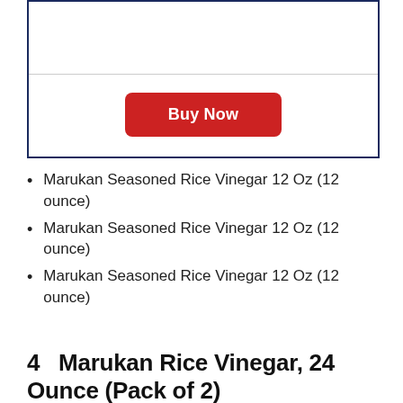[Figure (other): Product card box with a horizontal divider and a red 'Buy Now' button centered at the bottom]
Marukan Seasoned Rice Vinegar 12 Oz (12 ounce)
Marukan Seasoned Rice Vinegar 12 Oz (12 ounce)
Marukan Seasoned Rice Vinegar 12 Oz (12 ounce)
4   Marukan Rice Vinegar, 24 Ounce (Pack of 2)